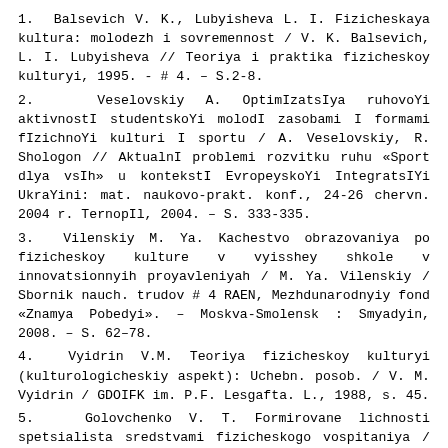1. Balsevich V. K., Lubyisheva L. I. Fizicheskaya kultura: molodezh i sovremennost / V. K. Balsevich, L. I. Lubyisheva // Teoriya i praktika fizicheskoy kulturyi, 1995. - # 4. – S.2-8.
2. Veselovskiy A. OptimIzatsIya ruhovoYi aktivnostI studentskoYi molodI zasobami I formami fIzichnoYi kulturi I sportu / A. Veselovskiy, R. Shologon // AktualnI problemi rozvitku ruhu «Sport dlya vsIh» u kontekstI EvropeyskoYi IntegratsIYi UkraYini: mat. naukovo-prakt. konf., 24-26 chervn. 2004 r. TernopIl, 2004. – S. 333-335.
3. Vilenskiy M. Ya. Kachestvo obrazovaniya po fizicheskoy kulture v vyisshey shkole v innovatsionnyih proyavleniyah / M. Ya. Vilenskiy / Sbornik nauch. trudov # 4 RAEN, Mezhdunarodnyiy fond «Znamya Pobedyi». – Moskva-Smolensk : Smyadyin, 2008. – S. 62–78.
4. Vyidrin V.M. Teoriya fizicheskoy kulturyi (kulturologicheskiy aspekt): Uchebn. posob. / V. M. Vyidrin / GDOIFK im. P.F. Lesgafta. L., 1988, s. 45.
5. Golovchenko V. T. Formirovanie lichnosti spetsialista sredstvami fizicheskogo vospitaniya / V. T. Golovchenko, T. V. Bondarenko. - Harkov: IVMO «HK», 2001. – 153 s.
6. Goncharenko M. S. Viznachennya zdatnostI studentIv do samopIznannya / M. S. Goncharenko, O. O. Golobova, V. G. Rasenek // PedagogIka, psihologIya ta mediko-pedagogIchnI